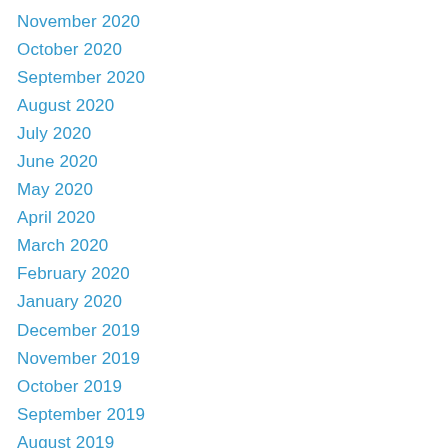November 2020
October 2020
September 2020
August 2020
July 2020
June 2020
May 2020
April 2020
March 2020
February 2020
January 2020
December 2019
November 2019
October 2019
September 2019
August 2019
July 2019
May 2019
February 2019
January 2019